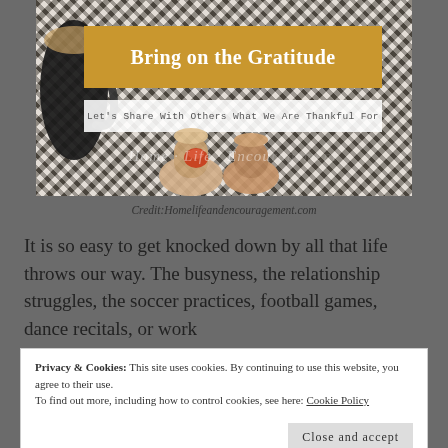[Figure (photo): Blog header image showing a mug of coffee, candles, and patterned fabric in warm tones with overlaid text banners reading 'Bring on the Gratitude' and 'Let's Share With Others What We Are Thankful For'. Watermark text reads 'Home Life Encou...']
Credit:Homelifeandencouragement.com
It is so easy to get knocked down by all that life throws our way. The busyness, the relationship struggles, the soccer practices, football games, dance recitals, or work
Privacy & Cookies: This site uses cookies. By continuing to use this website, you agree to their use.
To find out more, including how to control cookies, see here: Cookie Policy
Close and accept
...